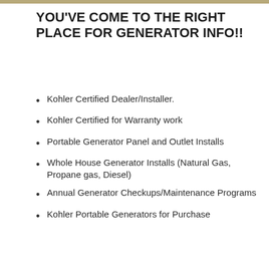YOU'VE COME TO THE RIGHT PLACE FOR GENERATOR INFO!!
Kohler Certified Dealer/Installer.
Kohler Certified for Warranty work
Portable Generator Panel and Outlet Installs
Whole House Generator Installs (Natural Gas, Propane gas, Diesel)
Annual Generator Checkups/Maintenance Programs
Kohler Portable Generators for Purchase